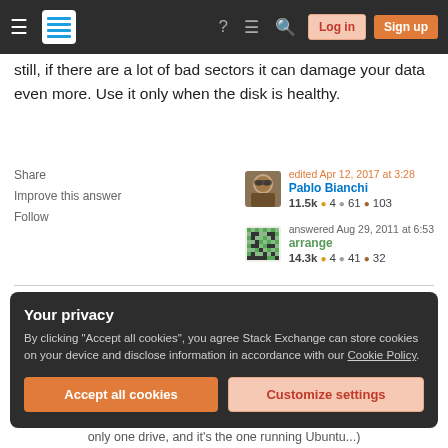Stack Exchange navigation bar with Log in and Sign up buttons
still, if there are a lot of bad sectors it can damage your data even more. Use it only when the disk is healthy.
Share   Improve this answer   Follow
edited Apr 12, 2017 at 3:28 Pablo Bianchi 11.5k ●4 ●61 ●103
answered Aug 29, 2011 at 6:53 arrange 14.3k ●4 ●41 ●32
Your privacy
By clicking "Accept all cookies", you agree Stack Exchange can store cookies on your device and disclose information in accordance with our Cookie Policy.
Accept all cookies   Customize settings
only one drive, and it's the one running Ubuntu...)